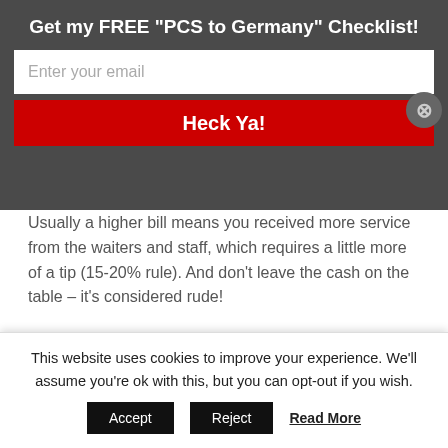Get my FREE "PCS to Germany" Checklist!
Enter your email
Heck Ya!
Usually a higher bill means you received more service from the waiters and staff, which requires a little more of a tip (15-20% rule). And don't leave the cash on the table – it's considered rude!
[Figure (photo): Two side-by-side food/restaurant photos: left shows a person with plants and greenery, right shows a burger or food item.]
This website uses cookies to improve your experience. We'll assume you're ok with this, but you can opt-out if you wish.
Accept  Reject  Read More